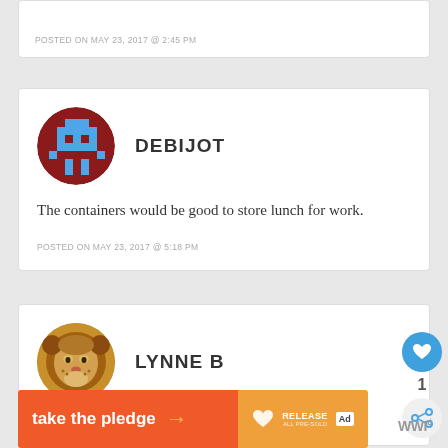POSTED ON MAY 23, 2017 @ 2:45 PM
[Figure (illustration): Pixel art avatar of Debijot - dark red circular background with blue pixel character]
DEBIJOT
The containers would be good to store lunch for work.
POSTED ON MAY 23, 2017 @ 5:18 PM
[Figure (photo): Circular avatar showing a lion face photo]
LYNNE B
I would store salads in the large container.
[Figure (infographic): Banner ad: take the pledge with arrow, Release logo, ad choice icon, orange/red gradient background]
WWI°